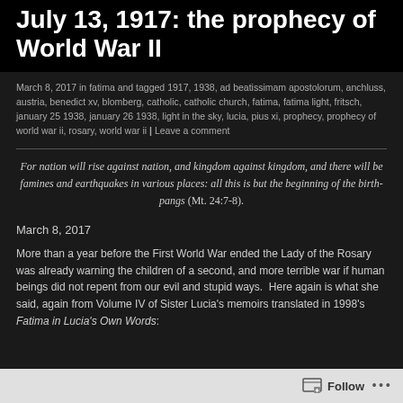July 13, 1917: the prophecy of World War II
March 8, 2017 in fatima and tagged 1917, 1938, ad beatissimam apostolorum, anchluss, austria, benedict xv, blomberg, catholic, catholic church, fatima, fatima light, fritsch, january 25 1938, january 26 1938, light in the sky, lucia, pius xi, prophecy, prophecy of world war ii, rosary, world war ii | Leave a comment
For nation will rise against nation, and kingdom against kingdom, and there will be famines and earthquakes in various places: all this is but the beginning of the birth-pangs (Mt. 24:7-8).
March 8, 2017
More than a year before the First World War ended the Lady of the Rosary was already warning the children of a second, and more terrible war if human beings did not repent from our evil and stupid ways.  Here again is what she said, again from Volume IV of Sister Lucia's memoirs translated in 1998's Fatima in Lucia's Own Words: